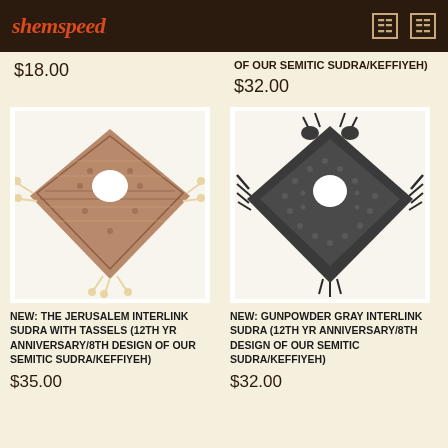shemspeed
$18.00
OF OUR SEMITIC SUDRA/KEFFIYEH)
$32.00
[Figure (photo): Tan/brown patterned keffiyeh scarf folded into triangle shape with gold tassels at edges]
NEW: THE JERUSALEM INTERLINK SUDRA WITH TASSELS (12TH YR ANNIVERSARY/8TH DESIGN OF OUR SEMITIC SUDRA/KEFFIYEH)
$35.00
[Figure (photo): Dark gunpowder gray patterned keffiyeh scarf folded into triangle shape with fringe edges]
NEW: GUNPOWDER GRAY INTERLINK SUDRA (12TH YR ANNIVERSARY/8TH DESIGN OF OUR SEMITIC SUDRA/KEFFIYEH)
$32.00